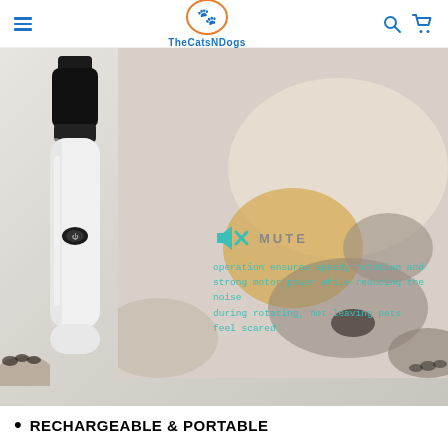TheCatsNDogs
[Figure (photo): Product photo of a white electric pet nail grinder with black head, shown alongside a sleeping golden retriever puppy. The image highlights 'MUTE' operation with a mute icon and teal text stating: operation ensures speedy rotation and strong motor power while reducing the noise during rotating, not leaving pets feel scared]
RECHARGEABLE & PORTABLE